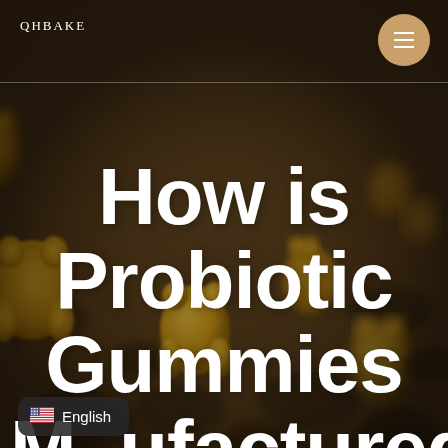[Figure (photo): Close-up background photo of golden/yellow probiotic gummy candies in various bear and animal shapes on a dark tray, blurred/bokeh effect]
QHBAKE
How is Probiotic Gummies Manufactured
English